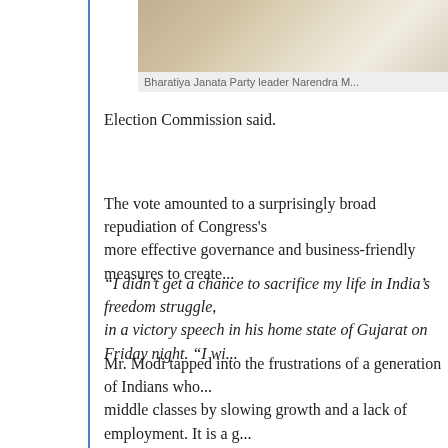[Figure (photo): Cropped photo of Bharatiya Janata Party leader Narendra Modi]
Bharatiya Janata Party leader Narendra M...
Election Commission said.
The vote amounted to a surprisingly broad repudiation of Congress's more effective governance and business-friendly measures to create...
“I didn’t get a chance to sacrifice my life in India’s freedom struggle, in a victory speech in his home state of Gujarat on Friday night. “I wi...
Mr. Modi tapped into the frustrations of a generation of Indians who... middle classes by slowing growth and a lack of employment. It is a g... class infrastructure.
More From The Wall Street Journal (subscription required):
Narendra Modi’s Election Win Heralds New Era in India